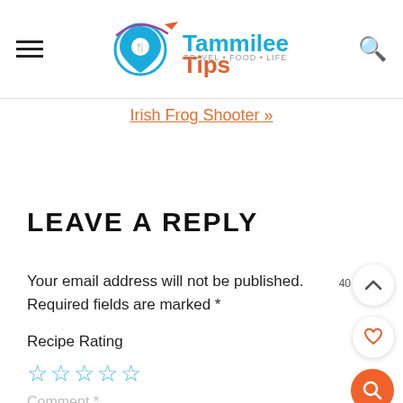[Figure (logo): Tammilee Tips Travel+Food+Life logo with hamburger menu icon on left and search icon on right]
Irish Frog Shooter »
LEAVE A REPLY
Your email address will not be published. Required fields are marked *
Recipe Rating
☆☆☆☆☆
Comment *